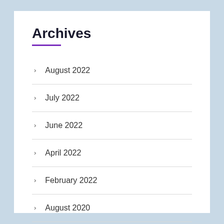Archives
August 2022
July 2022
June 2022
April 2022
February 2022
August 2020
July 2020